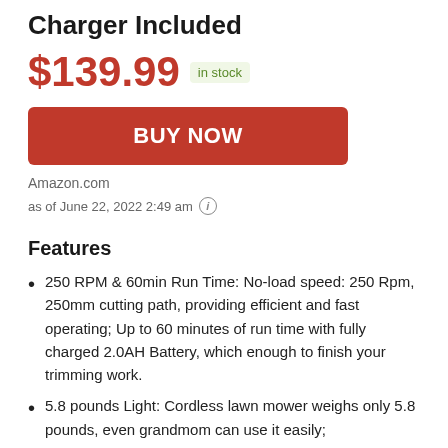Charger Included
$139.99  in stock
BUY NOW
Amazon.com
as of June 22, 2022 2:49 am
Features
250 RPM & 60min Run Time: No-load speed: 250 Rpm, 250mm cutting path, providing efficient and fast operating; Up to 60 minutes of run time with fully charged 2.0AH Battery, which enough to finish your trimming work.
5.8 pounds Light: Cordless lawn mower weighs only 5.8 pounds, even grandmom can use it easily;